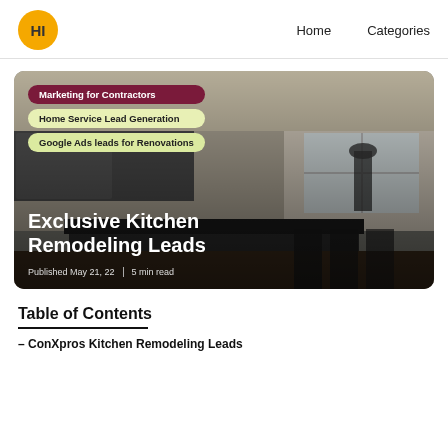HI | Home | Categories
[Figure (photo): Hero image of a modern kitchen remodel with dark cabinets and island. Overlaid tags: 'Marketing for Contractors', 'Home Service Lead Generation', 'Google Ads leads for Renovations'. Title: 'Exclusive Kitchen Remodeling Leads'. Meta: 'Published May 21, 22 | 5 min read']
Table of Contents
– ConXpros Kitchen Remodeling Leads